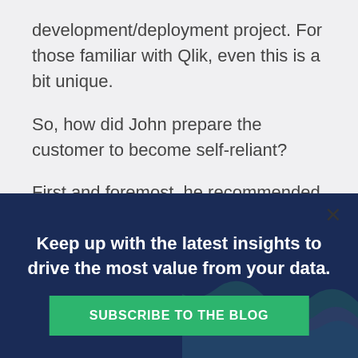development/deployment project. For those familiar with Qlik, even this is a bit unique.
So, how did John prepare the customer to become self-reliant?
First and foremost, he recommended they start
[Figure (infographic): Dark navy blue banner popup with a close X button in upper right. Bold white text reads 'Keep up with the latest insights to drive the most value from your data.' with a green 'SUBSCRIBE TO THE BLOG' button below. A decorative wave graphic appears in the lower right corner.]
Keep up with the latest insights to drive the most value from your data.
SUBSCRIBE TO THE BLOG